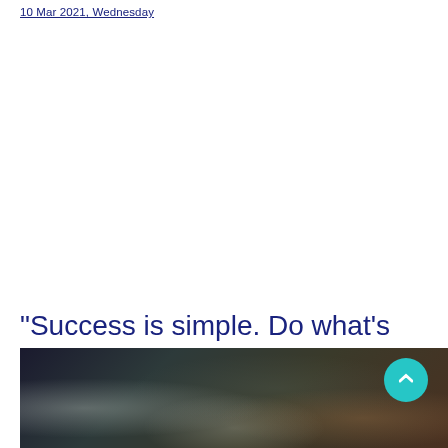10 Mar 2021, Wednesday
"Success is simple. Do what's right, the right way, at the right time."
[Figure (photo): Dark-toned photograph of hands holding objects, dimly lit scene with warm accents at edges]